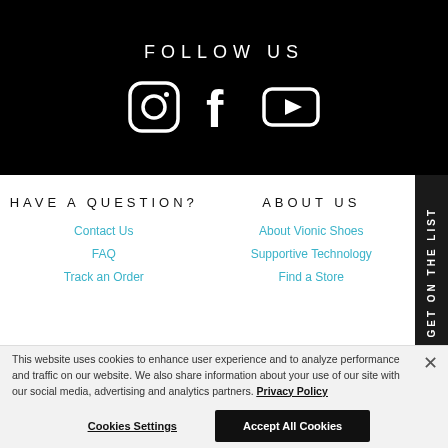FOLLOW US
[Figure (illustration): Social media icons: Instagram, Facebook, YouTube in white on black background]
HAVE A QUESTION?
ABOUT US
Contact Us
FAQ
Track an Order
About Vionic Shoes
Supportive Technology
Find a Store
This website uses cookies to enhance user experience and to analyze performance and traffic on our website. We also share information about your use of our site with our social media, advertising and analytics partners. Privacy Policy
Cookies Settings
Accept All Cookies